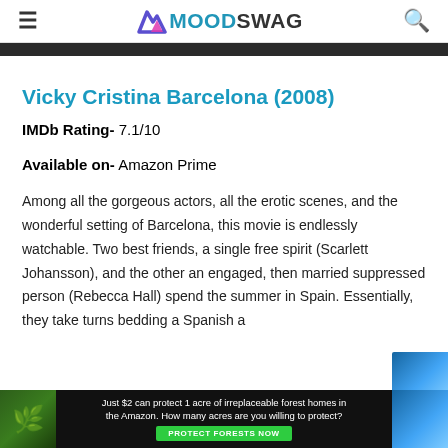MOODSWAG
Vicky Cristina Barcelona (2008)
IMDb Rating- 7.1/10
Available on- Amazon Prime
Among all the gorgeous actors, all the erotic scenes, and the wonderful setting of Barcelona, this movie is endlessly watchable. Two best friends, a single free spirit (Scarlett Johansson), and the other an engaged, then married suppressed person (Rebecca Hall) spend the summer in Spain. Essentially, they take turns bedding a Spanish a
[Figure (other): Advertisement banner for Amazon forest protection: 'Just $2 can protect 1 acre of irreplaceable forest homes in the Amazon. How many acres are you willing to protect?' with a PROTECT FORESTS NOW button on dark background with nature imagery.]